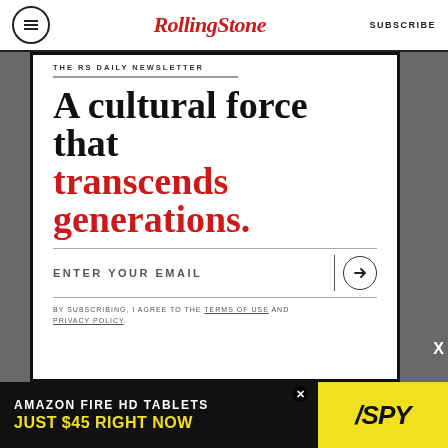RollingStone SUBSCRIBE
THE RS DAILY NEWSLETTER
A cultural force that transcends generations.
ENTER YOUR EMAIL
BY SUBSCRIBING, I AGREE TO THE TERMS OF USE AND PRIVACY POLICY.
[Figure (screenshot): Amazon Fire HD Tablets advertisement banner: 'AMAZON FIRE HD TABLETS JUST $45 RIGHT NOW' with SPY logo on yellow background]